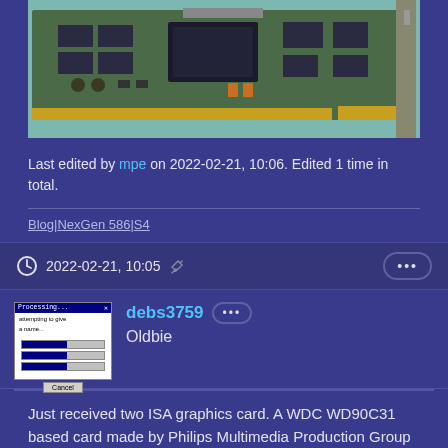[Figure (photo): Photo of a green ISA graphics card PCB with gold edge connector, chips, and capacitors on a light blue background]
Last edited by mpe on 2022-02-21, 10:06. Edited 1 time in total.
Blog|NexGen 586|S4
2022-02-21, 10:05
debs3759 Oldbie
Just received two ISA graphics card. A WDC WD90C31 based card made by Philips Multimedia Production Group and a Graphics Ultra Pro ISA from ATI.